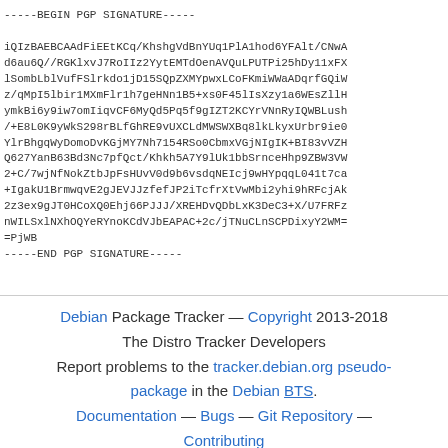-----BEGIN PGP SIGNATURE-----

iQIzBAEBCAAdFiEEtKCq/KhshgVdBnYUq1PlA1hod6YFAlt/CNwA
d6au6Q//RGKlxvJ7RoIIz2YytEMTdOenAVQuLPUTPi25hDy11xFX
lSombLblVufFSlrkdo1jD15SQpZXMYpwxLCoFKmiWWaADqrfGQiW
z/qMpI5lbir1MXmFlr1h7geHNn1B5+xs0F45lIsXzy1a6WEsZllH
ymkBi6y9iw7omIiqvCF6MyQd5Pq5f9gIZT2KCYrVNnRyIQWBLush
/+E8L0K9yWkS298rBLfGhRE9vUXCLdMWSWXBq8lkLkyxUrbr9ie0
YlrBhgqWyDomoDvKGjMY7Nh7154RSo0CbmxVGjNIgIK+BI83vVZH
Q627YanB63Bd3Nc7pfQct/Khkh5A7Y9lUk1bbSrnceHhp9ZBW3VW
2+C/7wjNfNokZtbJpFsHUvV0d9b6vsdqNEIcj9wHYpqqL041t7ca
+IgakU1BrmwqvE2gJEVJJzfefJP2iTcfrXtVwMbi2yhi9hRFcjAk
2z3ex9gJT0HCoXQ0Ehj66PJJJ/XREHDvQDbLxK3DeC3+X/U7FRFz
nWILSxlNXhOQYeRYnoKCdVJbEAPAC+2c/jTNuCLnSCPDixyY2WM=
=PjWB
-----END PGP SIGNATURE-----
Debian Package Tracker — Copyright 2013-2018
The Distro Tracker Developers
Report problems to the tracker.debian.org pseudo-package in the Debian BTS.
Documentation — Bugs — Git Repository — Contributing